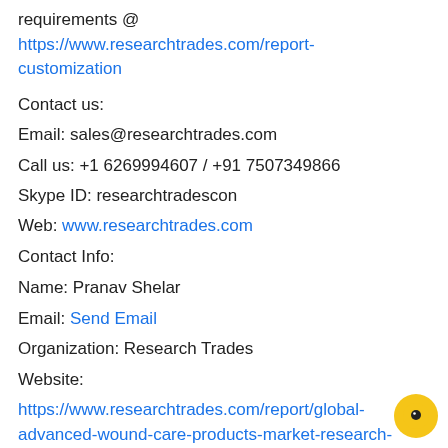requirements @ https://www.researchtrades.com/report-customization
Contact us:
Email: sales@researchtrades.com
Call us: +1 6269994607 / +91 7507349866
Skype ID: researchtradescon
Web: www.researchtrades.com
Contact Info:
Name: Pranav Shelar
Email: Send Email
Organization: Research Trades
Website:
https://www.researchtrades.com/report/global-advanced-wound-care-products-market-research-